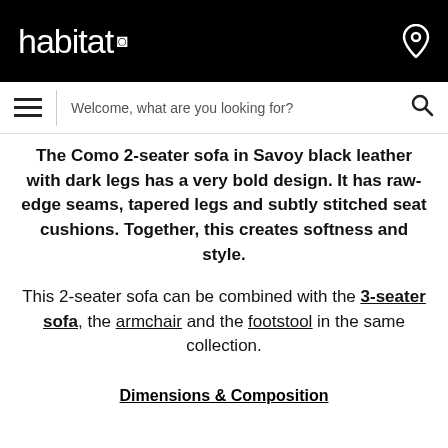habitat
Welcome, what are you looking for?
The Como 2-seater sofa in Savoy black leather with dark legs has a very bold design. It has raw-edge seams, tapered legs and subtly stitched seat cushions. Together, this creates softness and style.
This 2-seater sofa can be combined with the 3-seater sofa, the armchair and the footstool in the same collection.
Dimensions & Composition